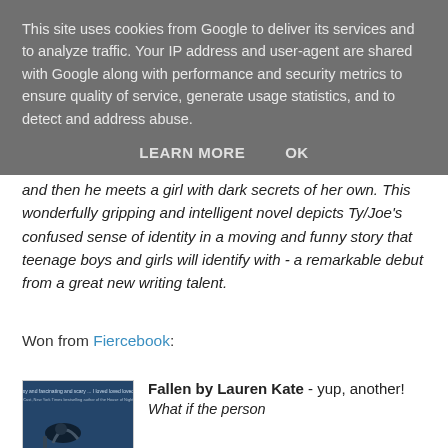This site uses cookies from Google to deliver its services and to analyze traffic. Your IP address and user-agent are shared with Google along with performance and security metrics to ensure quality of service, generate usage statistics, and to detect and address abuse.
LEARN MORE   OK
and then he meets a girl with dark secrets of her own. This wonderfully gripping and intelligent novel depicts Ty/Joe's confused sense of identity in a moving and funny story that teenage boys and girls will identify with - a remarkable debut from a great new writing talent.
Won from Fiercebook:
Fallen by Lauren Kate - yup, another!
What if the person